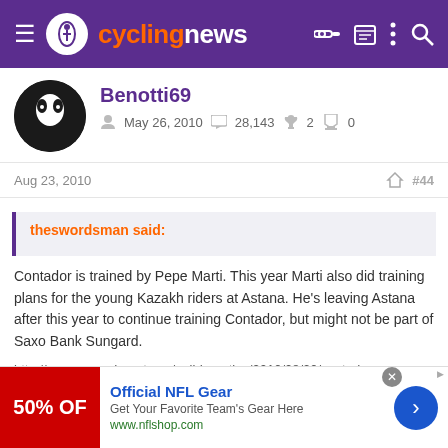cyclingnews
Benotti69
May 26, 2010   28,143   2   0
Aug 23, 2010   #44
theswordsman said:
Contador is trained by Pepe Marti. This year Marti also did training plans for the young Kazakh riders at Astana. He's leaving Astana after this year to continue training Contador, but might not be part of Saxo Bank Sungard.

http://www.superdeporte.es/polideportivo/2010/08/20/contador-lleva-saxo-bank-valenciano/103467.html
Official NFL Gear
Get Your Favorite Team's Gear Here
www.nflshop.com